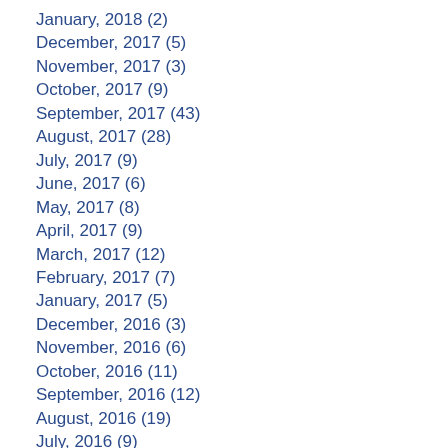January, 2018 (2)
December, 2017 (5)
November, 2017 (3)
October, 2017 (9)
September, 2017 (43)
August, 2017 (28)
July, 2017 (9)
June, 2017 (6)
May, 2017 (8)
April, 2017 (9)
March, 2017 (12)
February, 2017 (7)
January, 2017 (5)
December, 2016 (3)
November, 2016 (6)
October, 2016 (11)
September, 2016 (12)
August, 2016 (19)
July, 2016 (9)
June, 2016 (20)